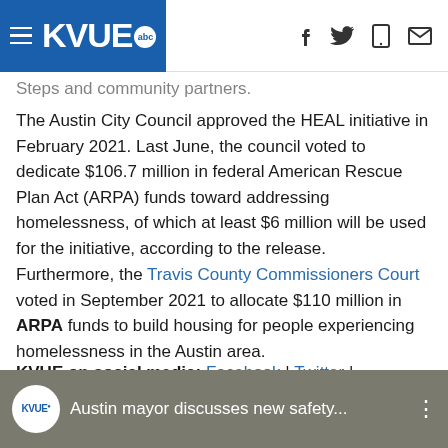KVUE abc — navigation bar with hamburger menu, logo, and social icons (f, twitter, mobile, mail)
Steps and community partners.
The Austin City Council approved the HEAL initiative in February 2021. Last June, the council voted to dedicate $106.7 million in federal American Rescue Plan Act (ARPA) funds toward addressing homelessness, of which at least $6 million will be used for the initiative, according to the release.
Furthermore, the Travis County Commissioners Court voted in September 2021 to allocate $110 million in ARPA funds to build housing for people experiencing homelessness in the Austin area.
KVUE on social media: Facebook | Twitter | Instagram | YouTube
[Figure (screenshot): KVUE video thumbnail showing 'Austin mayor discusses new safety...' with KVUE logo circle on dark background]